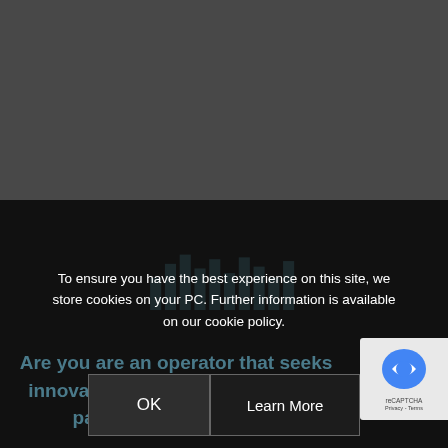[Figure (screenshot): Dark grey background top half of a web page]
[Figure (screenshot): Dark/black background bottom half of a web page with faint logo bars]
To ensure you have the best experience on this site, we store cookies on your PC. Further information is available on our cookie policy.
OK
Learn More
Are you are an operator that seeks innovati flexibility, y a true partnership approach?
[Figure (other): reCAPTCHA badge partially visible on right side]